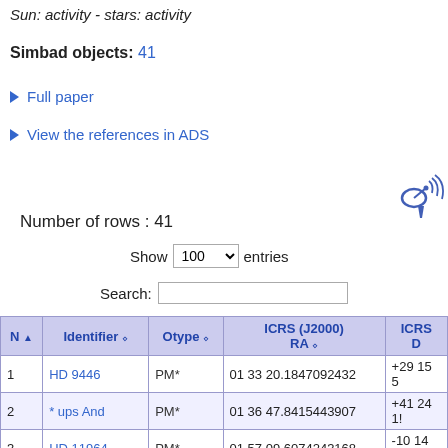Sun: activity - stars: activity
Simbad objects: 41
Full paper
View the references in ADS
[Figure (illustration): Satellite dish icon with signal arcs]
Number of rows : 41
Show 100 entries
Search:
| N | Identifier | Otype | ICRS (J2000) RA | ICRS D |
| --- | --- | --- | --- | --- |
| 1 | HD 9446 | PM* | 01 33 20.1847092432 | +29 15 5 |
| 2 | * ups And | PM* | 01 36 47.8415443907 | +41 24 1! |
| 3 | HD 11964 | PM* | 01 57 09.6074243168 | -10 14 32 |
| 4 | HD 12661 | PM* | 02 04 34.2881404104 | +25 24 5 |
| 5 | BD+20 518 | PM* | 03 11 14.2301712744 | +21 05 5! |
| 6 | HD 37124 | PM* | 05 37 02.4866159419 | +20 43 5! |
| 7 | HD 28529 | PM* | 05 46 34.0121288488 | +01 10 0 |